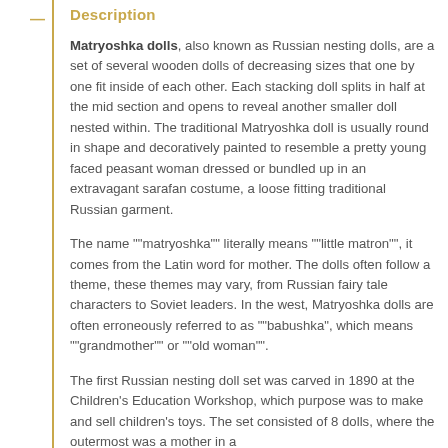Description
Matryoshka dolls, also known as Russian nesting dolls, are a set of several wooden dolls of decreasing sizes that one by one fit inside of each other. Each stacking doll splits in half at the mid section and opens to reveal another smaller doll nested within. The traditional Matryoshka doll is usually round in shape and decoratively painted to resemble a pretty young faced peasant woman dressed or bundled up in an extravagant sarafan costume, a loose fitting traditional Russian garment.
The name ""matryoshka"" literally means ""little matron"", it comes from the Latin word for mother. The dolls often follow a theme, these themes may vary, from Russian fairy tale characters to Soviet leaders. In the west, Matryoshka dolls are often erroneously referred to as ""babushka", which means ""grandmother"" or ""old woman"".
The first Russian nesting doll set was carved in 1890 at the Children's Education Workshop, which purpose was to make and sell children's toys. The set consisted of 8 dolls, where the outermost was a mother in a